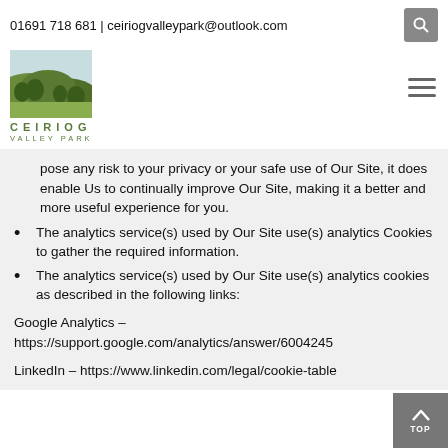01691 718 681 | ceiriogvalleypark@outlook.com
[Figure (logo): Ceiriog Valley Park logo — landscape illustration with green hills and the text CEIRIOG VALLEY PARK]
pose any risk to your privacy or your safe use of Our Site, it does enable Us to continually improve Our Site, making it a better and more useful experience for you.
The analytics service(s) used by Our Site use(s) analytics Cookies to gather the required information.
The analytics service(s) used by Our Site use(s) analytics cookies as described in the following links:
Google Analytics – https://support.google.com/analytics/answer/6004245
LinkedIn – https://www.linkedin.com/legal/cookie-table